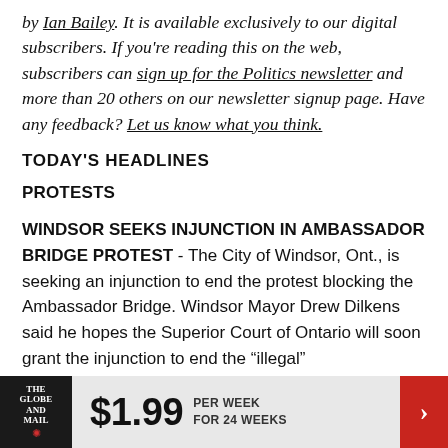by Ian Bailey. It is available exclusively to our digital subscribers. If you're reading this on the web, subscribers can sign up for the Politics newsletter and more than 20 others on our newsletter signup page. Have any feedback? Let us know what you think.
TODAY'S HEADLINES
PROTESTS
WINDSOR SEEKS INJUNCTION IN AMBASSADOR BRIDGE PROTEST - The City of Windsor, Ont., is seeking an injunction to end the protest blocking the Ambassador Bridge. Windsor Mayor Drew Dilkens said he hopes the Superior Court of Ontario will soon grant the injunction to end the "illegal"
[Figure (other): The Globe and Mail subscription banner: logo on left, $1.99 per week for 24 weeks offer in center, red arrow button on right]